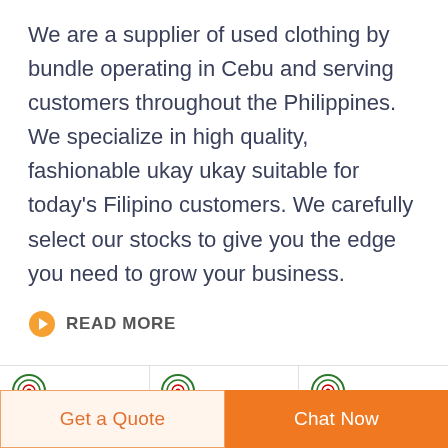We are a supplier of used clothing by bundle operating in Cebu and serving customers throughout the Philippines. We specialize in high quality, fashionable ukay ukay suitable for today's Filipino customers. We carefully select our stocks to give you the edge you need to grow your business.
READ MORE
[Figure (photo): Three product images side by side: a tactical/military vest in tan/khaki color, two black leather briefcases/bags, and two military-style medals with blue and black striped ribbons with gold bars. Each image has a DEEKON brand logo in the top left corner.]
Get a Quote
Chat Now